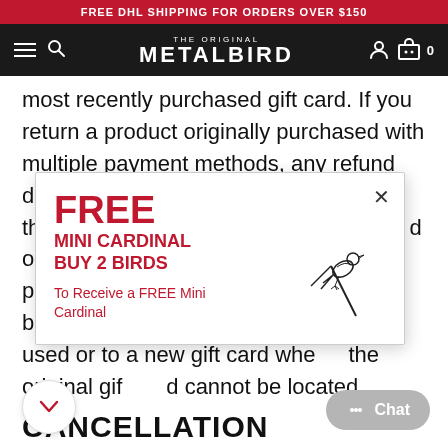FREE DHL SHIPPING FOR ORDERS OVER $150
THE ORIGINAL METALBIRD
most recently purchased gift card. If you return a product originally purchased with multiple payment methods, any refund due will first be refunded to the original t... d or PayPal a... e to that p... e remaining b... ed to the gift card used or to a new gift card where the original gift card cannot be located.
[Figure (infographic): Popup promotion box: FREE MINI CARDINAL BUY 2 BIRDS - To Receive a FREE Mini Cardinal, with a bird illustration and X close button]
CANCELLATION